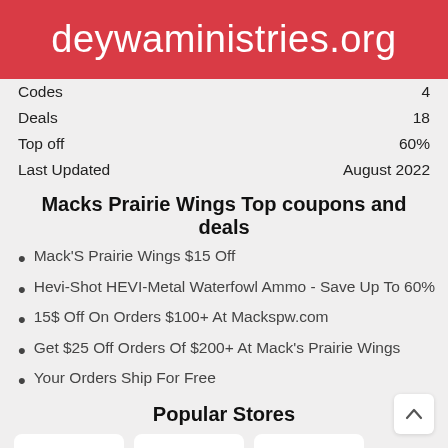deywaministries.org
| Codes | 4 |
| Deals | 18 |
| Top off | 60% |
| Last Updated | August 2022 |
Macks Prairie Wings Top coupons and deals
Mack'S Prairie Wings $15 Off
Hevi-Shot HEVI-Metal Waterfowl Ammo - Save Up To 60%
15$ Off On Orders $100+ At Mackspw.com
Get $25 Off Orders Of $200+ At Mack's Prairie Wings
Your Orders Ship For Free
Popular Stores